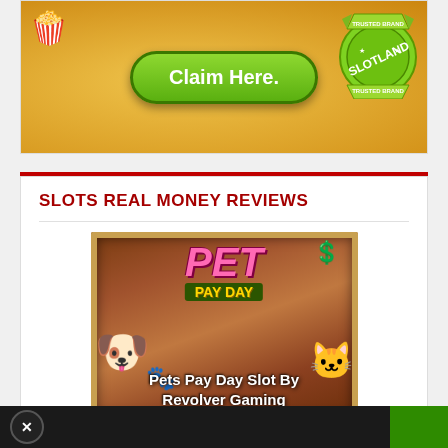[Figure (illustration): Casino banner with green 'Claim Here.' button on golden background and Slotland trusted brand badge on the right]
SLOTS REAL MONEY REVIEWS
[Figure (illustration): Game thumbnail for Pets Pay Day Slot by Revolver Gaming showing animated pet characters (dog and cat) with pink and yellow game logo on wood-paneled background, with overlay text 'Pets Pay Day Slot By Revolver Gaming']